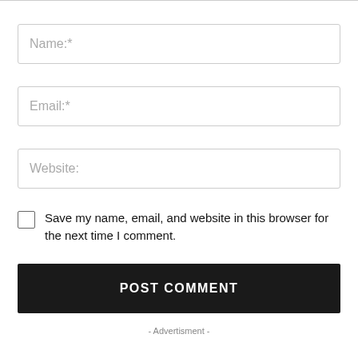Name:*
Email:*
Website:
Save my name, email, and website in this browser for the next time I comment.
POST COMMENT
- Advertisment -